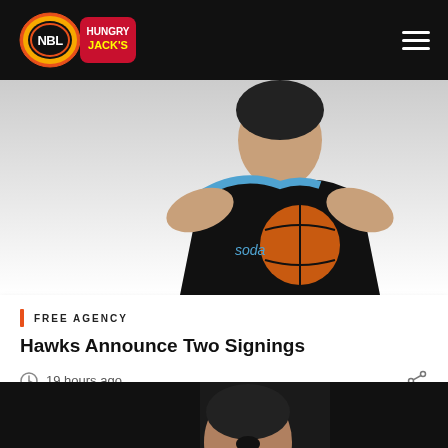NBL Hungry Jack's — navigation header
[Figure (photo): Basketball player in black and blue uniform holding a ball, white background]
FREE AGENCY
Hawks Announce Two Signings
19 hours ago
[Figure (photo): Basketball player looking up, dark background]